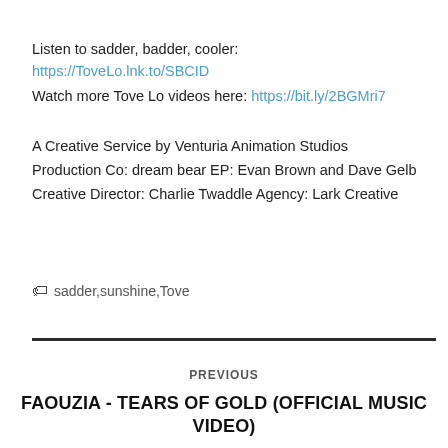Listen to sadder, badder, cooler:
https://ToveLo.lnk.to/SBCID
Watch more Tove Lo videos here: https://bit.ly/2BGMri7
A Creative Service by Venturia Animation Studios Production Co: dream bear EP: Evan Brown and Dave Gelb Creative Director: Charlie Twaddle Agency: Lark Creative
sadder,sunshine,Tove
PREVIOUS
FAOUZIA - TEARS OF GOLD (OFFICIAL MUSIC VIDEO)